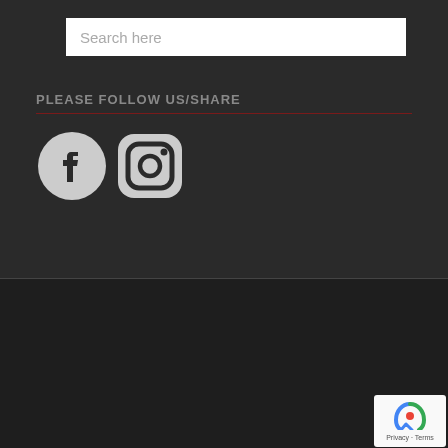Search here
PLEASE FOLLOW US/SHARE
[Figure (logo): Facebook and Instagram social media icons]
Designed and maintained by http://digitalmarketingagencyus.com ©2020 Olen Skin Care: Natural Skin Care Manufacturer All Rights Reserved.